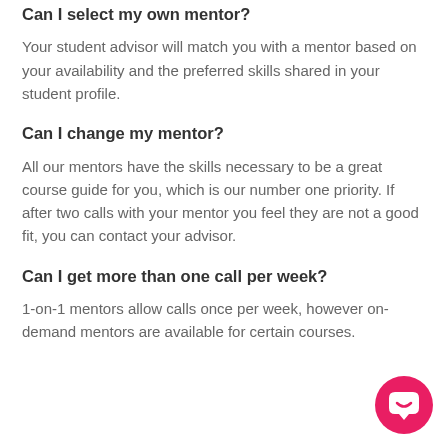Can I select my own mentor?
Your student advisor will match you with a mentor based on your availability and the preferred skills shared in your student profile.
Can I change my mentor?
All our mentors have the skills necessary to be a great course guide for you, which is our number one priority. If after two calls with your mentor you feel they are not a good fit, you can contact your advisor.
Can I get more than one call per week?
1-on-1 mentors allow calls once per week, however on-demand mentors are available for certain courses.
[Figure (illustration): Pink circular chat/messenger button in bottom-right corner with white speech bubble icon]